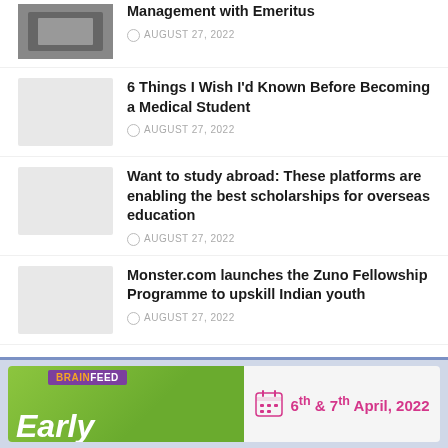[Figure (photo): Thumbnail image of people in a classroom/management setting]
Management with Emeritus
AUGUST 27, 2022
[Figure (photo): Gray placeholder thumbnail]
6 Things I Wish I'd Known Before Becoming a Medical Student
AUGUST 27, 2022
[Figure (photo): Gray placeholder thumbnail]
Want to study abroad: These platforms are enabling the best scholarships for overseas education
AUGUST 27, 2022
[Figure (photo): Gray placeholder thumbnail]
Monster.com launches the Zuno Fellowship Programme to upskill Indian youth
AUGUST 27, 2022
[Figure (infographic): BrainFeed Early Bird banner with green background, purple BrainFeed badge with orange text, and date 6th & 7th April, 2022 in pink on right side]